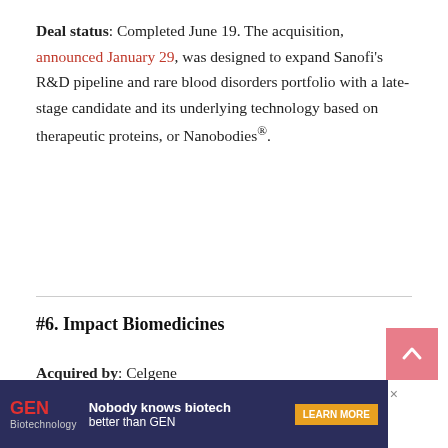Deal status: Completed June 19. The acquisition, announced January 29, was designed to expand Sanofi's R&D pipeline and rare blood disorders portfolio with a late-stage candidate and its underlying technology based on therapeutic proteins, or Nanobodies®.
#6. Impact Biomedicines
Acquired by: Celgene
Price: Up to $7 billion